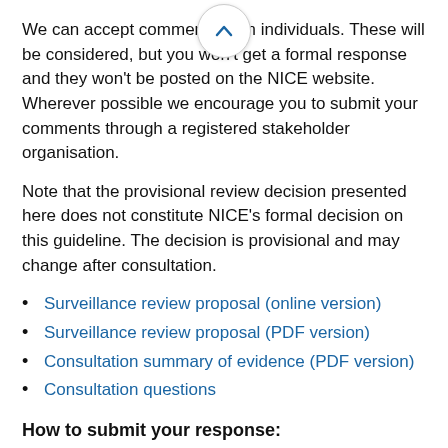We can accept comments from individuals. These will be considered, but you won't get a formal response and they won't be posted on the NICE website. Wherever possible we encourage you to submit your comments through a registered stakeholder organisation.
Note that the provisional review decision presented here does not constitute NICE's formal decision on this guideline. The decision is provisional and may change after consultation.
Surveillance review proposal (online version)
Surveillance review proposal (PDF version)
Consultation summary of evidence (PDF version)
Consultation questions
How to submit your response:
This consultation is using our new online commenting software. This means that we are not accepting responses on a Word form sent by email.